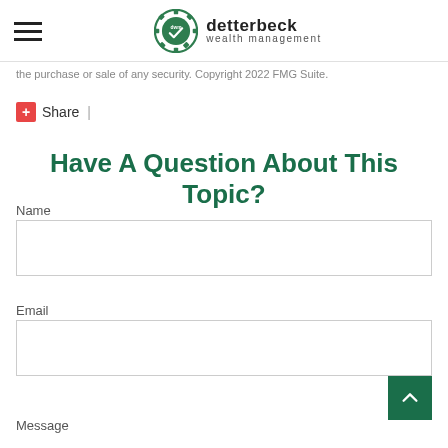detterbeck wealth management
the purchase or sale of any security. Copyright 2022 FMG Suite.
Share |
Have A Question About This Topic?
Name
Email
Message